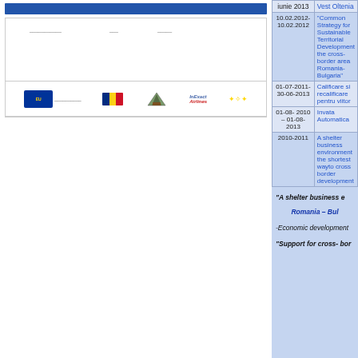[Figure (logo): Blue header bar and institution logo box with partner logos row]
| Date | Project Title |
| --- | --- |
| iunie 2013 | Vest Oltenia |
| 10.02.2012-10.02.2012 | "Common Strategy for Sustainable Territorial Development the cross-border area Romania-Bulgaria" |
| 01-07-2011- 30-06-2013 | Calificare si recalificare pentru viitor |
| 01-08- 2010 – 01-08- 2013 | Invata Automatica |
| 2010-2011 | A shelter business environment the shortest wayto cross border development |
"A shelter business e
Romania – Bul
-Economic development
"Support for cross- bor